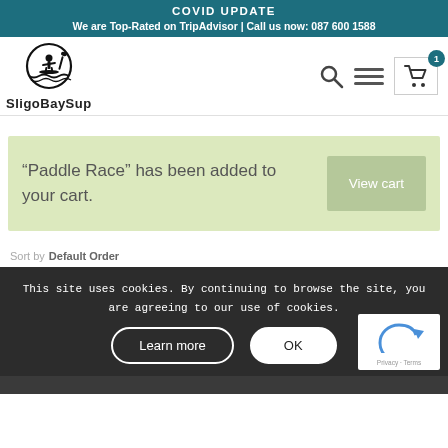COVID UPDATE
We are Top-Rated on TripAdvisor | Call us now: 087 600 1588
[Figure (logo): SligoBaySup logo with silhouette of person paddleboarding in a circle]
“Paddle Race” has been added to your cart.
View cart
Sort by Default Order
This site uses cookies. By continuing to browse the site, you are agreeing to our use of cookies.
Learn more
OK
[Figure (other): reCAPTCHA widget with Privacy - Terms label]